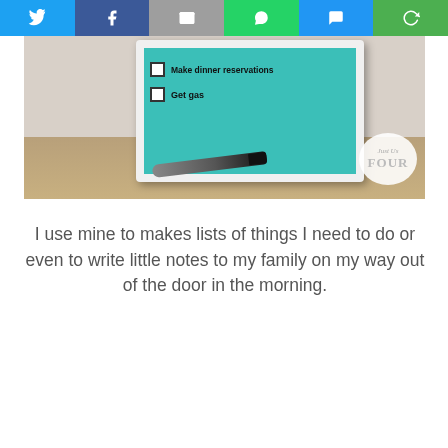Social share bar: Twitter, Facebook, Email, WhatsApp, SMS, Share
[Figure (photo): A whiteboard with a teal/turquoise surface in a white frame showing a to-do list with checkboxes: 'Make dinner reservations', 'Get gas'. A black marker lies in front of it on a wooden surface. A 'Just Us Four' logo badge appears in the bottom right corner.]
I use mine to makes lists of things I need to do or even to write little notes to my family on my way out of the door in the morning.